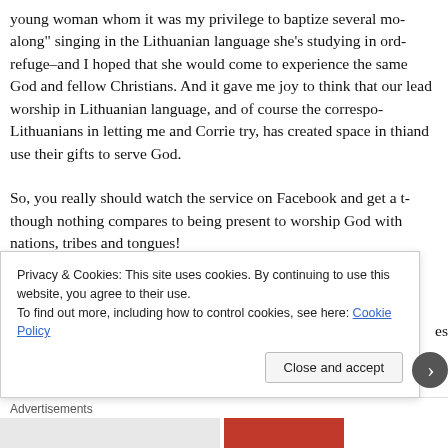young woman whom it was my privilege to baptize several mo along" singing in the Lithuanian language she's studying in ord refuge–and I hoped that she would come to experience the same God and fellow Christians. And it gave me joy to think that our lead worship in Lithuanian language, and of course the correspo Lithuanians in letting me and Corrie try, has created space in th and use their gifts to serve God.
So, you really should watch the service on Facebook and get a t though nothing compares to being present to worship God with nations, tribes and tongues!
Audio and text: ©2022 by Benjamin D. Giffone. Reproduction a
s
Privacy & Cookies: This site uses cookies. By continuing to use this website, you agree to their use.
To find out more, including how to control cookies, see here: Cookie Policy
Close and accept
Advertisements